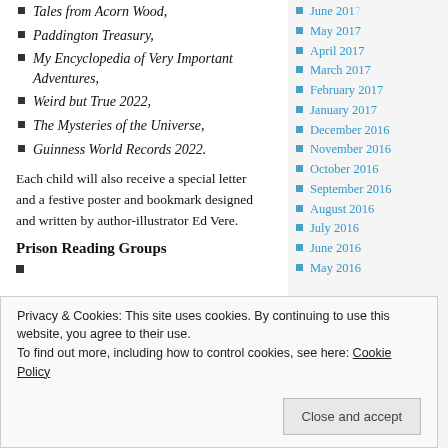Tales from Acorn Wood,
Paddington Treasury,
My Encyclopedia of Very Important Adventures,
Weird but True 2022,
The Mysteries of the Universe,
Guinness World Records 2022.
Each child will also receive a special letter and a festive poster and bookmark designed and written by author-illustrator Ed Vere.
Prison Reading Groups
May 2017
April 2017
March 2017
February 2017
January 2017
December 2016
November 2016
October 2016
September 2016
August 2016
July 2016
June 2016
May 2016
Privacy & Cookies: This site uses cookies. By continuing to use this website, you agree to their use. To find out more, including how to control cookies, see here: Cookie Policy
Close and accept